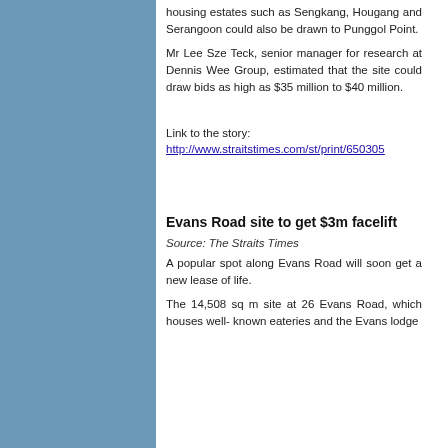housing estates such as Sengkang, Hougang and Serangoon could also be drawn to Punggol Point.
Mr Lee Sze Teck, senior manager for research at Dennis Wee Group, estimated that the site could draw bids as high as $35 million to $40 million.
Link to the story:
http://www.straitstimes.com/st/print/650305
Evans Road site to get $3m facelift
Source: The Straits Times
A popular spot along Evans Road will soon get a new lease of life.
The 14,508 sq m site at 26 Evans Road, which houses well- known eateries and the Evans lodge...